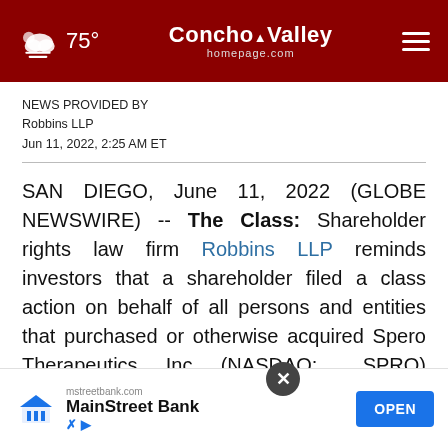75° Concho Valley homepage.com
NEWS PROVIDED BY
Robbins LLP
Jun 11, 2022, 2:25 AM ET
SAN DIEGO, June 11, 2022 (GLOBE NEWSWIRE) -- The Class: Shareholder rights law firm Robbins LLP reminds investors that a shareholder filed a class action on behalf of all persons and entities that purchased or otherwise acquired Spero Therapeutics, Inc. (NASDAQ: SPRO) securities betw[een...]. The complaint alleges violations of the Securities